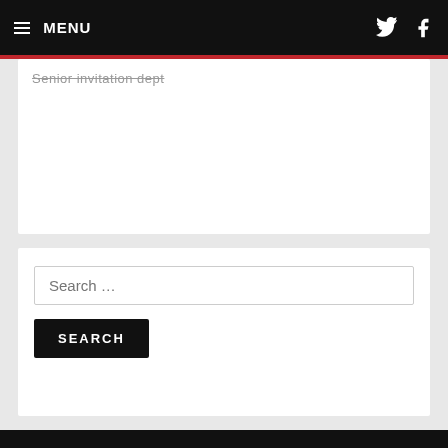MENU
Senior invitation dept
Search ...
SEARCH
LATEST FROM GARDEN WALK
Season Tickets: Early Bird Offer
CROWS BLOG – Attitude, Focus and Drive
2019/20 FIXTURES RELEASED